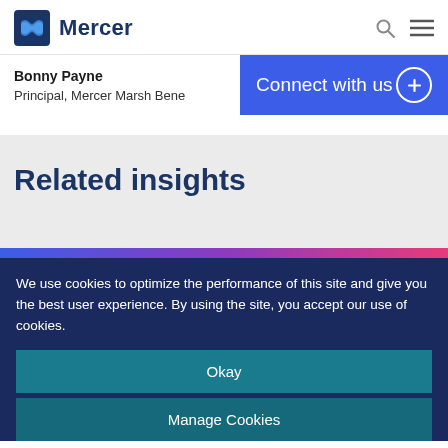Mercer
Bonny Payne
Principal, Mercer Marsh Bene
Connect with us
Related insights
We use cookies to optimize the performance of this site and give you the best user experience. By using the site, you accept our use of cookies.
Okay
Manage Cookies